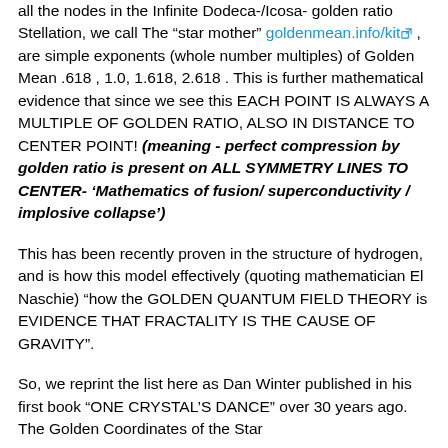all the nodes in the Infinite Dodeca-/Icosa- golden ratio Stellation, we call The "star mother" goldenmean.info/kit , are simple exponents (whole number multiples) of Golden Mean .618 , 1.0, 1.618, 2.618 . This is further mathematical evidence that since we see this EACH POINT IS ALWAYS A MULTIPLE OF GOLDEN RATIO, ALSO IN DISTANCE TO CENTER POINT! (meaning - perfect compression by golden ratio is present on ALL SYMMETRY LINES TO CENTER- 'Mathematics of fusion/ superconductivity / implosive collapse')
This has been recently proven in the structure of hydrogen, and is how this model effectively (quoting mathematician El Naschie) "how the GOLDEN QUANTUM FIELD THEORY is EVIDENCE THAT FRACTALITY IS THE CAUSE OF GRAVITY".
So, we reprint the list here as Dan Winter published in his first book "ONE CRYSTAL'S DANCE" over 30 years ago. The Golden Coordinates of the Star